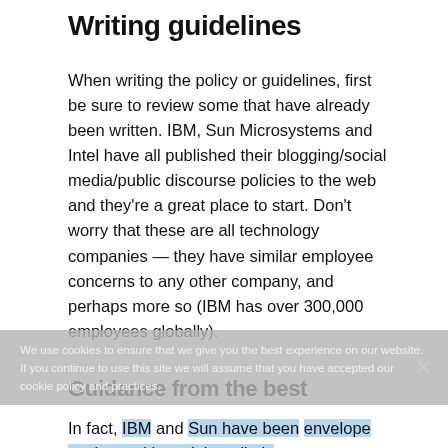Writing guidelines
When writing the policy or guidelines, first be sure to review some that have already been written. IBM, Sun Microsystems and Intel have all published their blogging/social media/public discourse policies to the web and they're a great place to start. Don't worry that these are all technology companies — they have similar employee concerns to any other company, and perhaps more so (IBM has over 300,000 employees globally).
We use cookies to ensure that we give you the best experience on our website. If you continue to use this site we will assume that you have accepted our cookie policy and practices.
Guidance from the best
In fact, IBM and Sun have been envelope pushers with social media in